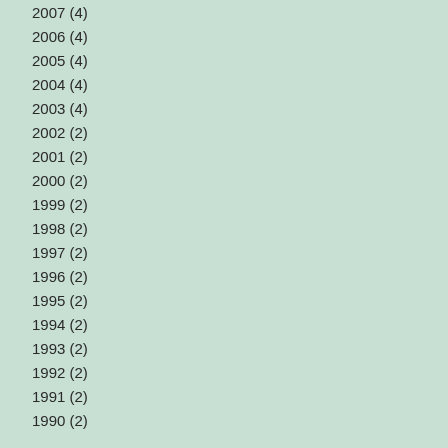2007 (4)
2006 (4)
2005 (4)
2004 (4)
2003 (4)
2002 (2)
2001 (2)
2000 (2)
1999 (2)
1998 (2)
1997 (2)
1996 (2)
1995 (2)
1994 (2)
1993 (2)
1992 (2)
1991 (2)
1990 (2)